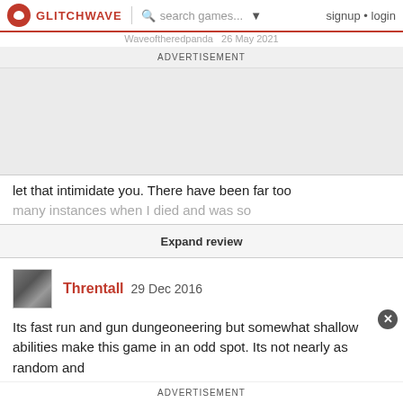GLITCHWAVE | search games... signup · login
Waveoftheredpanda  26 May 2021
ADVERTISEMENT
let that intimidate you. There have been far too many instances when I died and was so
Expand review
Threntall  29 Dec 2016
Its fast run and gun dungeoneering but somewhat shallow abilities make this game in an odd spot. Its not nearly as random and entertaining when compared to Binding of Isaac, and the gameplay is not as hectic or intense as Enter the Gungeon. Its still a fine game on its
ADVERTISEMENT